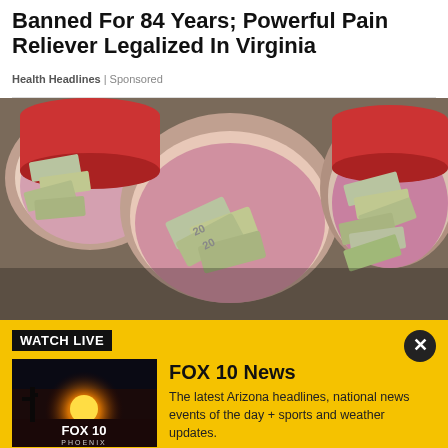Banned For 84 Years; Powerful Pain Reliever Legalized In Virginia
Health Headlines | Sponsored
[Figure (photo): Photo of buckets lined with pink plastic bags filled with stacks of US $20 bills]
WATCH LIVE
[Figure (screenshot): FOX 10 Phoenix logo on a sunset background]
FOX 10 News
The latest Arizona headlines, national news events of the day + sports and weather updates.